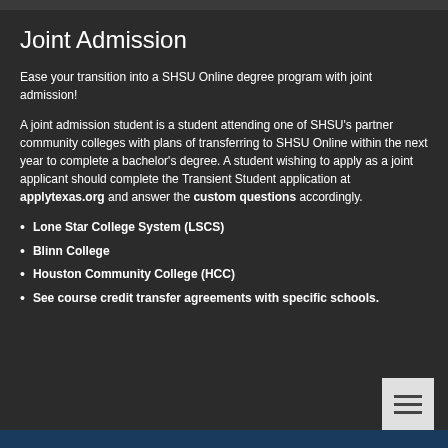Joint Admission
Ease your transition into a SHSU Online degree program with joint admission!
A joint admission student is a student attending one of SHSU's partner community colleges with plans of transferring to SHSU Online within the next year to complete a bachelor's degree. A student wishing to apply as a joint applicant should complete the Transient Student application at applytexas.org and answer the custom questions accordingly.
Lone Star College System (LSCS)
Blinn College
Houston Community College (HCC)
See course credit transfer agreements with specific schools.